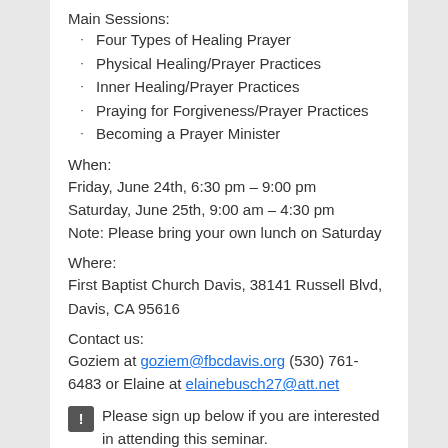Main Sessions:
Four Types of Healing Prayer
Physical Healing/Prayer Practices
Inner Healing/Prayer Practices
Praying for Forgiveness/Prayer Practices
Becoming a Prayer Minister
When:
Friday, June 24th, 6:30 pm – 9:00 pm
Saturday, June 25th, 9:00 am – 4:30 pm
Note: Please bring your own lunch on Saturday
Where:
First Baptist Church Davis, 38141 Russell Blvd, Davis, CA 95616
Contact us:
Goziem at goziem@fbcdavis.org (530) 761-6483 or Elaine at elainebusch27@att.net
Please sign up below if you are interested in attending this seminar.